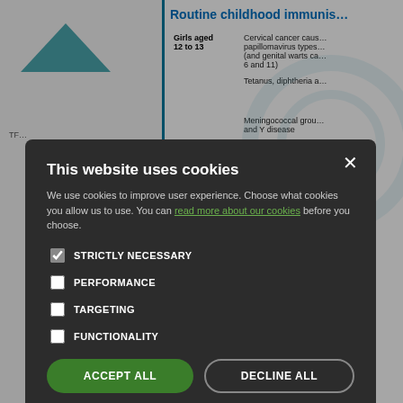[Figure (illustration): Teal triangle/mountain shape logo in left panel]
Routine childhood immunis…
| Age group | Vaccine information |
| --- | --- |
| Girls aged 12 to 13 | Cervical cancer caus… papillomavirus types… (and genital warts ca… 6 and 11) |
|  | Tetanus, diphtheria a… |
|  | Meningococcal grou… and Y disease |
|  | …more injections are re… here this is not possi… |
The Meningitis C vaccination will be i…
This website uses cookies

We use cookies to improve user experience. Choose what cookies you allow us to use. You can read more about our cookies before you choose.

STRICTLY NECESSARY
PERFORMANCE
TARGETING
FUNCTIONALITY

ACCEPT ALL   DECLINE ALL